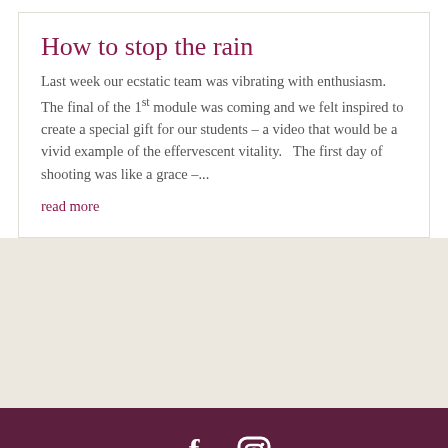How to stop the rain
Last week our ecstatic team was vibrating with enthusiasm. The final of the 1st module was coming and we felt inspired to create a special gift for our students – a video that would be a vivid example of the effervescent vitality.   The first day of shooting was like a grace –...
read more
[Figure (illustration): Decorative floral pattern background in beige/cream tones]
@2021 Dombi Arte Tântrica. Todos os direitos reservados. Política de privacidade